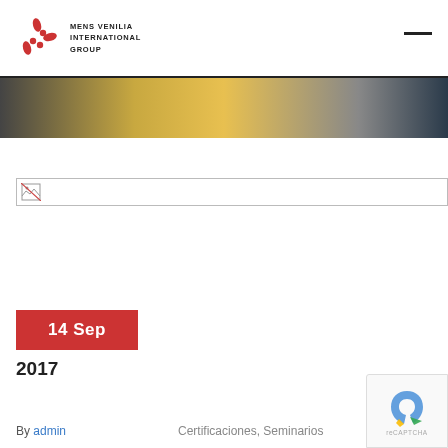MENS VENILIA INTERNATIONAL GROUP
[Figure (photo): Hero image showing a person in yellow/dark setting, partially visible]
[Figure (other): Broken image placeholder icon]
14 Sep
2017
By admin   Certificaciones, Seminarios